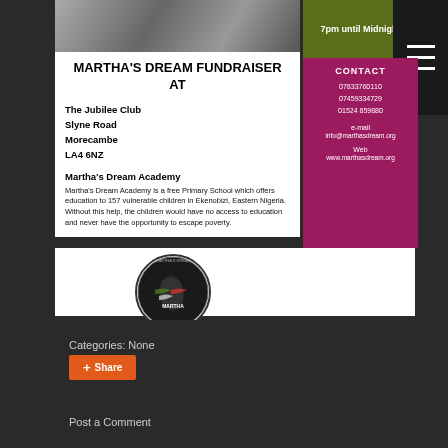[Figure (photo): Photo of a person in white clothing outdoors]
7pm until Midnight
MARTHA'S DREAM FUNDRAISER AT
The Jubilee Club
Slyne Road
Morecambe
LA4 6NZ
Martha's Dream Academy
Martha's Dream Academy is a free Primary School which offers education to 157 vulnerable children in Ekenobizi, Eastern Nigeria. Without this help, the children would have no access to education and never have the opportunity to escape poverty.
CONTACT
07833760110
07459334729
01524 859880
e-mail
info@marthasdream.org
Web
www.marthasdream.org
[Figure (logo): Martha's Dream Academy circular logo]
Categories: None
Share